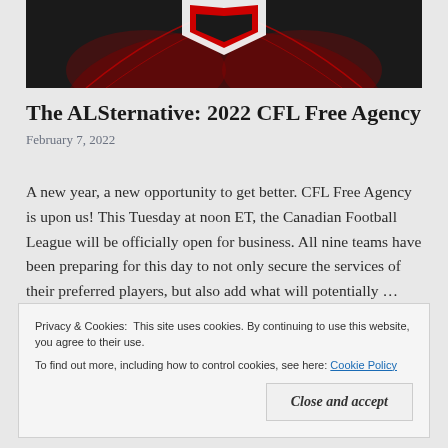[Figure (photo): Partial view of a sports team logo on dark background with red and white chevron/arrow design elements]
The ALSternative: 2022 CFL Free Agency
February 7, 2022
A new year, a new opportunity to get better. CFL Free Agency is upon us! This Tuesday at noon ET, the Canadian Football League will be officially open for business. All nine teams have been preparing for this day to not only secure the services of their preferred players, but also add what will potentially ...
Privacy & Cookies:  This site uses cookies. By continuing to use this website, you agree to their use.
To find out more, including how to control cookies, see here: Cookie Policy
Close and accept